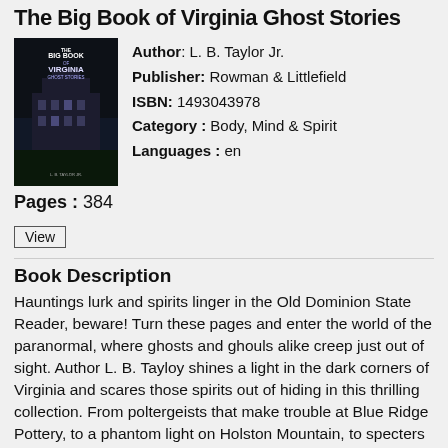The Big Book of Virginia Ghost Stories
[Figure (photo): Book cover of 'The Big Book of Virginia Ghost Stories' showing a dark atmospheric image of a building]
Author: L. B. Taylor Jr.
Publisher: Rowman & Littlefield
ISBN: 1493043978
Category: Body, Mind & Spirit
Languages: en
Pages: 384
View
Book Description
Hauntings lurk and spirits linger in the Old Dominion State Reader, beware! Turn these pages and enter the world of the paranormal, where ghosts and ghouls alike creep just out of sight. Author L. B. Tayloy shines a light in the dark corners of Virginia and scares those spirits out of hiding in this thrilling collection. From poltergeists that make trouble at Blue Ridge Pottery, to a phantom light on Holston Mountain, to specters haunting the battlefield of